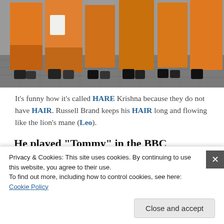[Figure (photo): Photo showing the lower bodies and feet of people wearing orange robes walking on a cobblestone street, viewed from behind/side.]
It's funny how it's called HARE Krishna because they do not have HAIR. Russell Brand keeps his HAIR long and flowing like the lion's mane (Leo).
He played “Tommy” in the BBC (223/322) sitcom “Blessed.” Blessed refers to blessing the sacred cow.
[Figure (photo): Partially visible image below the main text, mostly white/light colored.]
Privacy & Cookies: This site uses cookies. By continuing to use this website, you agree to their use.
To find out more, including how to control cookies, see here: Cookie Policy
Close and accept